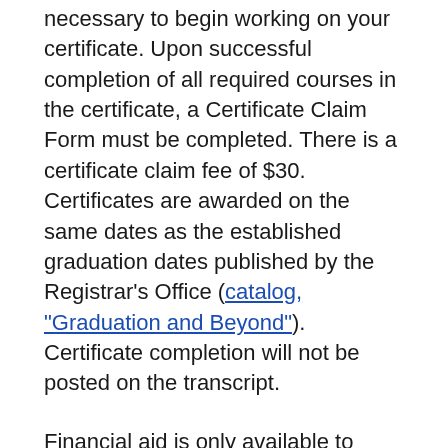necessary to begin working on your certificate. Upon successful completion of all required courses in the certificate, a Certificate Claim Form must be completed. There is a certificate claim fee of $30. Certificates are awarded on the same dates as the established graduation dates published by the Registrar's Office (catalog, "Graduation and Beyond"). Certificate completion will not be posted on the transcript.
Financial aid is only available to students who are degree-seeking with UIU and have gone through the standard application and award process. Financial aid is not available to non-